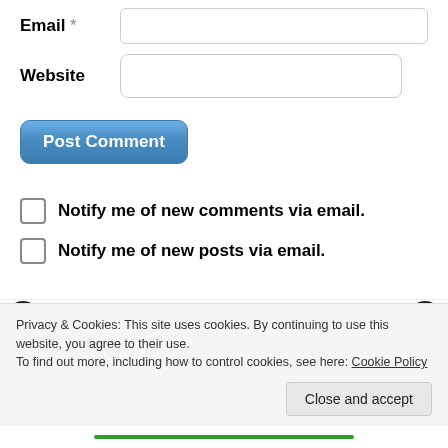Email *
Website
[Figure (screenshot): Post Comment button - blue rounded rectangle button]
Notify me of new comments via email.
Notify me of new posts via email.
7-20-16
The Passing at Highway 10, part 25.
Privacy & Cookies: This site uses cookies. By continuing to use this website, you agree to their use.
To find out more, including how to control cookies, see here: Cookie Policy
Close and accept